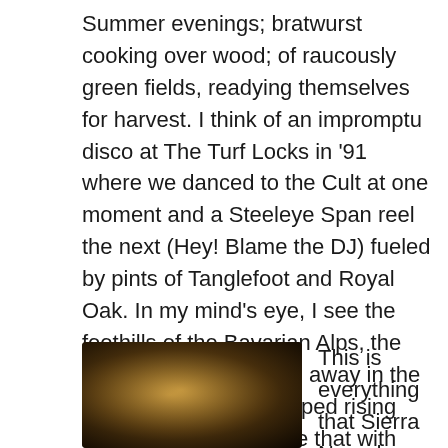Summer evenings; bratwurst cooking over wood; of raucously green fields, readying themselves for harvest. I think of an impromptu disco at The Turf Locks in '91 where we danced to the Cult at one moment and a Steeleye Span reel the next (Hey! Blame the DJ) fueled by pints of Tanglefoot and Royal Oak. In my mind's eye, I see the foothills of the Bavarian Alps, the rolling fields and away, away in the distance the snow-capped rising spires ascending. Fuse that with the entrepreneurial passion of the New World and the dancing bars on the graphic equalizer go banzai.
[Figure (photo): A blurry close-up photo of a person, warm tones with dark background, appears to be an informal or candid shot.]
This is everything that Sierra Nevada